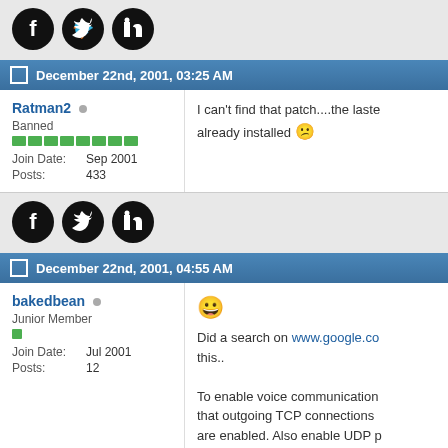[Figure (other): Social share icons: Facebook, Twitter, LinkedIn (black circles with white logos)]
December 22nd, 2001, 03:25 AM
Ratman2 [offline] Banned Join Date: Sep 2001 Posts: 433
I can't find that patch....the laste already installed
[Figure (other): Social share icons: Facebook, Twitter, LinkedIn (black circles with white logos)]
December 22nd, 2001, 04:55 AM
bakedbean [offline] Junior Member Join Date: Jul 2001 Posts: 12
Did a search on www.google.co this..

To enable voice communication that outgoing TCP connections are enabled. Also enable UDP p either the source or the destin